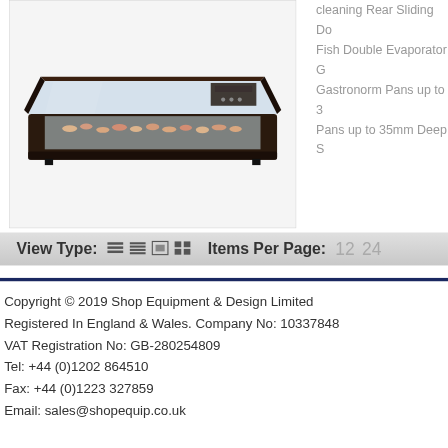[Figure (photo): A dark-colored sushi/fish display case with curved glass front, showing seafood/sushi displayed on ice inside]
clearing Rear Sliding Do Fish Double Evaporator G Gastronorm Pans up to 3 Pans up to 35mm Deep S
View Type: [icons] Items Per Page: 12 24
Copyright © 2019 Shop Equipment & Design Limited
Registered In England & Wales. Company No: 10337848
VAT Registration No: GB-280254809
Tel: +44 (0)1202 864510
Fax: +44 (0)1223 327859
Email: sales@shopequip.co.uk